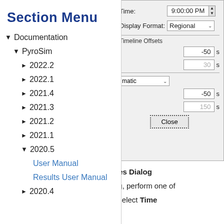[Figure (screenshot): Software dialog screenshot showing Time field set to 9:00:00 PM with spin control, Display Format dropdown set to Regional, Timeline Offsets section with numeric fields showing -50 s and 30 s, another dropdown showing 'matic', more numeric fields showing -50 s and 150 s, and a Close button with dotted border.]
Section Menu
▼ Documentation
▼ PyroSim
► 2022.2
► 2022.1
► 2021.4
► 2021.3
► 2021.2
► 2021.1
▼ 2020.5
User Manual
Results User Manual
► 2020.4
nes Dialog
og, perform one of
, select Time